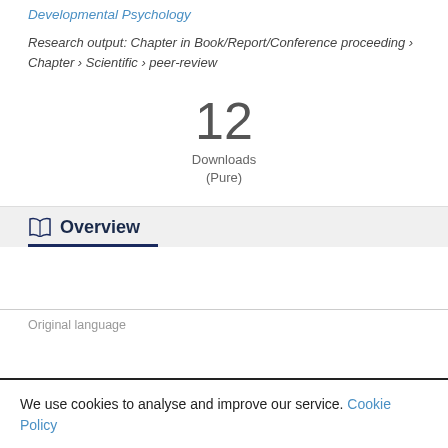Developmental Psychology
Research output: Chapter in Book/Report/Conference proceeding › Chapter › Scientific › peer-review
12
Downloads
(Pure)
Overview
Original language
We use cookies to analyse and improve our service. Cookie Policy